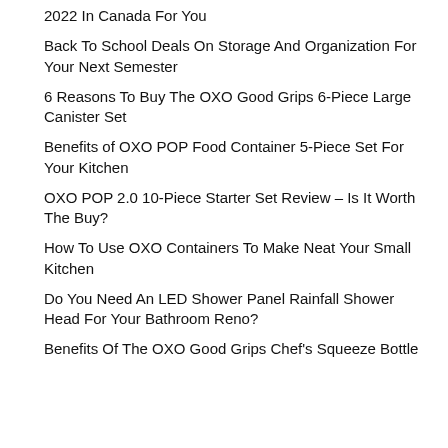2022 In Canada For You
Back To School Deals On Storage And Organization For Your Next Semester
6 Reasons To Buy The OXO Good Grips 6-Piece Large Canister Set
Benefits of OXO POP Food Container 5-Piece Set For Your Kitchen
OXO POP 2.0 10-Piece Starter Set Review – Is It Worth The Buy?
How To Use OXO Containers To Make Neat Your Small Kitchen
Do You Need An LED Shower Panel Rainfall Shower Head For Your Bathroom Reno?
Benefits Of The OXO Good Grips Chef's Squeeze Bottle